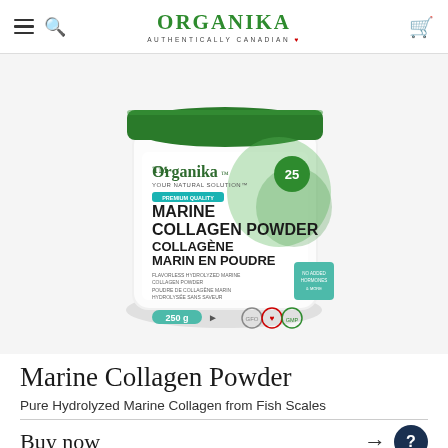ORGANIKA AUTHENTICALLY CANADIAN
[Figure (photo): Organika Marine Collagen Powder 250g white container with green lid and green label design]
Marine Collagen Powder
Pure Hydrolyzed Marine Collagen from Fish Scales
Buy now